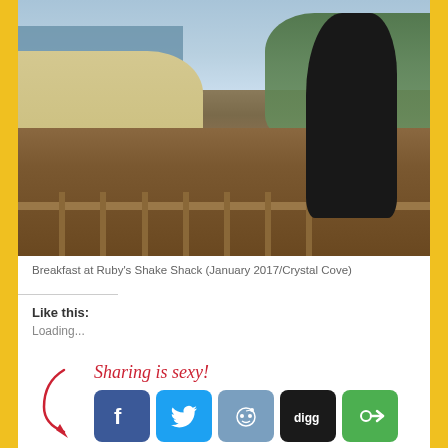[Figure (photo): Person in black hoodie standing on a wooden deck/balcony overlooking a beach and ocean, eating something. Vegetation and hillside visible in background. January 2017, Crystal Cove.]
Breakfast at Ruby’s Shake Shack (January 2017/Crystal Cove)
Like this:
Loading...
Sharing is sexy!
[Figure (infographic): Social sharing icons row: Facebook, Twitter, Reddit, Digg, StumbleUpon/Stumble, with a cursive red 'Sharing is sexy!' label and a red arrow pointing to the icons.]